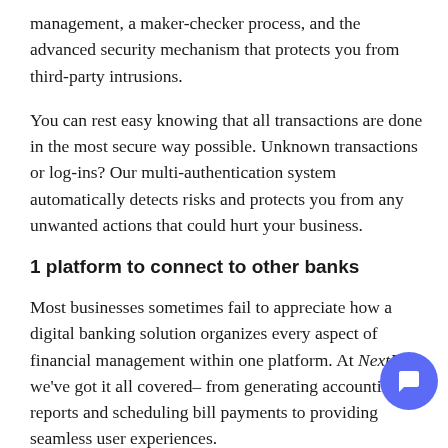management, a maker-checker process, and the advanced security mechanism that protects you from third-party intrusions.
You can rest easy knowing that all transactions are done in the most secure way possible. Unknown transactions or log-ins? Our multi-authentication system automatically detects risks and protects you from any unwanted actions that could hurt your business.
1 platform to connect to other banks
Most businesses sometimes fail to appreciate how a digital banking solution organizes every aspect of financial management within one platform. At NextPay, we've got it all covered– from generating accounting reports and scheduling bill payments to providing seamless user experiences.
If you're a business owner finding ways to pay your